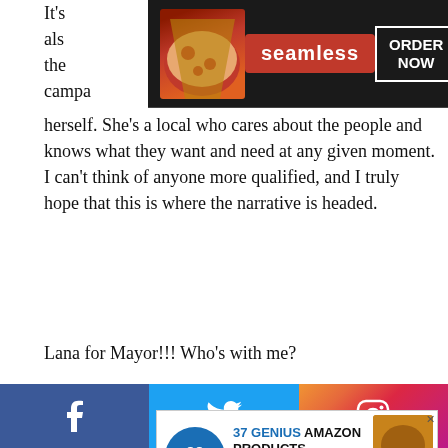[Figure (screenshot): Seamless food delivery advertisement banner with pizza image, Seamless red logo, and ORDER NOW button on dark background]
herself. She's a local who cares about the people and knows what they want and need at any given moment. I can't think of anyone more qualified, and I truly hope that this is where the narrative is headed.
Lana for Mayor!!! Who's with me?
[Figure (screenshot): 22 Words advertisement: 37 GENIUS AMAZON PRODUCTS THAT CAN BE USED BY ANYONE with product image]
What did you think of the premiere of Superman & Lois?
Are you excited by all the possibilities introduced in the season 2 premiere? Let us know your thoughts in the comments below!
[Figure (screenshot): MAC cosmetics advertisement with lipsticks and SHOP NOW button, with CLOSE button overlay]
[Figure (screenshot): Social media share bar with Facebook, Twitter, and Instagram icons]